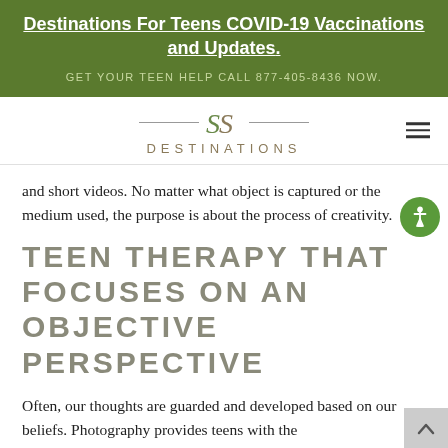Destinations For Teens COVID-19 Vaccinations and Updates
GET YOUR TEEN HELP CALL 877-405-8436 NOW
[Figure (logo): Destinations logo with interlocking S shapes and horizontal lines, text 'DESTINATIONS' below]
and short videos. No matter what object is captured or the medium used, the purpose is about the process of creativity.
TEEN THERAPY THAT FOCUSES ON AN OBJECTIVE PERSPECTIVE
Often, our thoughts are guarded and developed based on our beliefs. Photography provides teens with the